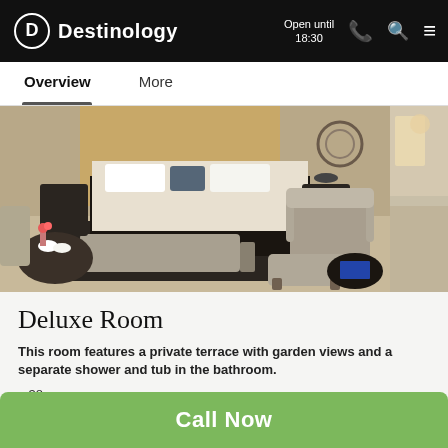Destinology — Open until 18:30
Overview  More
[Figure (photo): Hotel deluxe room interior showing a king bed with white linens, a grey sofa bench at the foot of the bed, an armchair with an ottoman, a round coffee table with magazines, and a side table with floral arrangement]
Deluxe Room
This room features a private terrace with garden views and a separate shower and tub in the bathroom.
38sqm
Call Now